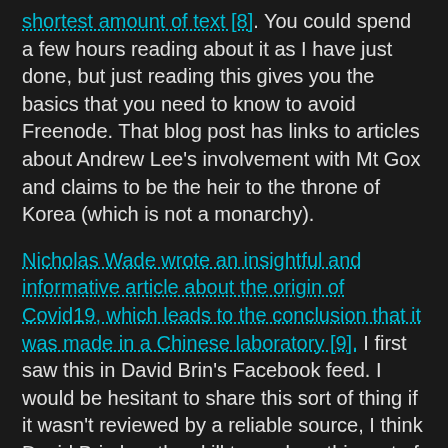shortest amount of text [8]. You could spend a few hours reading about it as I have just done, but just reading this gives you the basics that you need to know to avoid Freenode. That blog post has links to articles about Andrew Lee's involvement with Mt Gox and claims to be the heir to the throne of Korea (which is not a monarchy).
Nicholas Wade wrote an insightful and informative article about the origin of Covid19, which leads to the conclusion that it was made in a Chinese laboratory [9]. I first saw this in David Brin's Facebook feed. I would be hesitant to share this sort of thing if it wasn't reviewed by a reliable source, I think David Brin has the skill to analyse this sort of article and the contacts to allow him to seek verification of any scientific issues that are outside his field. I believe that this article is reliable and it's conclusion is most likely to be correct.